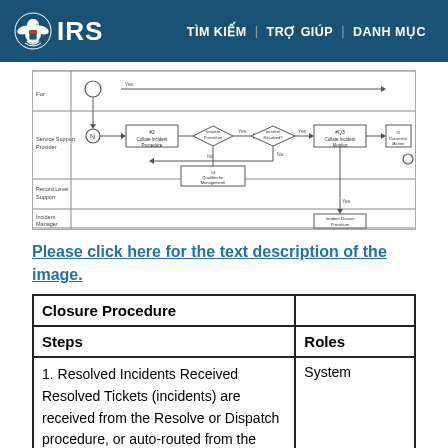IRS | TÌM KIẾM | TRỢ GIÚP | DANH MỤC
[Figure (flowchart): A flowchart showing an incident closure procedure with swim lanes for Service Support Provider, Record Level Support, and Incident Manager. Contains process boxes, decision diamonds, and flow arrows.]
Please click here for the text description of the image.
| Closure Procedure |  |
| --- | --- |
| Steps | Roles |
| 1. Resolved Incidents Received Resolved Tickets (incidents) are received from the Resolve or Dispatch procedure, or auto-routed from the Incident Recording procedure. | System |